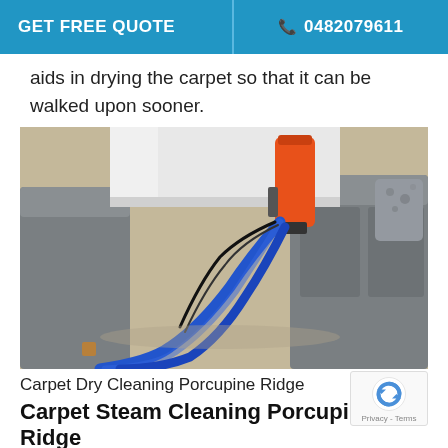GET FREE QUOTE   📞 0482079611
aids in drying the carpet so that it can be walked upon sooner.
[Figure (photo): Carpet cleaning in progress in a living room with grey sofas, an orange cylindrical machine and blue cleaning hoses on a beige carpet.]
Carpet Dry Cleaning Porcupine Ridge
Carpet Steam Cleaning Porcupine Ridge